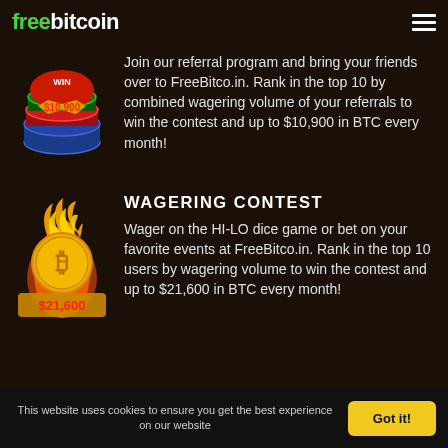freebitcoin
[Figure (illustration): Poker chips with WIN $10,900 badge in red/gold]
Join our referral program and bring your friends over to FreeBitco.in. Rank in the top 10 by combined wagering volume of your referrals to win the contest and up to $10,900 in BTC every month!
WAGERING CONTEST
[Figure (illustration): Flaming bitcoin coin with $21,600 label]
Wager on the HI-LO dice game or bet on your favorite events at FreeBitco.in. Rank in the top 10 users by wagering volume to win the contest and up to $21,600 in BTC every month!
This website uses cookies to ensure you get the best experience on our website